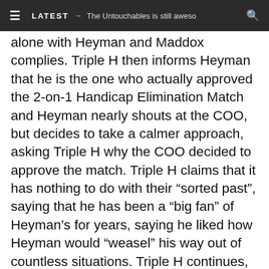≡  LATEST → The Untouchables is still aweso  🔍
alone with Heyman and Maddox complies. Triple H then informs Heyman that he is the one who actually approved the 2-on-1 Handicap Elimination Match and Heyman nearly shouts at the COO, but decides to take a calmer approach, asking Triple H why the COO decided to approve the match. Triple H claims that it has nothing to do with their “sorted past”, saying that he has been a “big fan” of Heyman’s for years, saying he liked how Heyman would “weasel” his way out of countless situations. Triple H continues, saying that he cannot see a way that Heyman can weasel out of the match at Night of Champions, saying that CM Punk is likely going to give